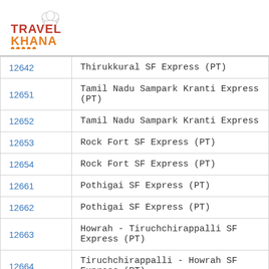[Figure (logo): Travel Khana logo with chef hat icon and orange dots]
| 12642 | Thirukkural SF Express (PT) |
| 12651 | Tamil Nadu Sampark Kranti Express (PT) |
| 12652 | Tamil Nadu Sampark Kranti Express |
| 12653 | Rock Fort SF Express (PT) |
| 12654 | Rock Fort SF Express (PT) |
| 12661 | Pothigai SF Express (PT) |
| 12662 | Pothigai SF Express (PT) |
| 12663 | Howrah - Tiruchchirappalli SF Express (PT) |
| 12664 | Tiruchchirappalli - Howrah SF Express (PT) |
| 12665 | Howrah - Kanniyakumari SF Express (PT) |